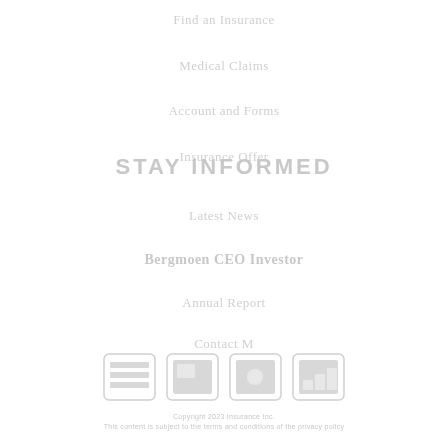Find an Insurance
Medical Claims
Account and Forms
Insurance Offer
STAY INFORMED
Latest News
Bergmoen CEO Investor
Annual Report
Contact M
[Figure (screenshot): Four social media / app icon buttons in a row]
Copyright 2023 Insurance Inc.
This content is subject to the terms and conditions of the privacy policy